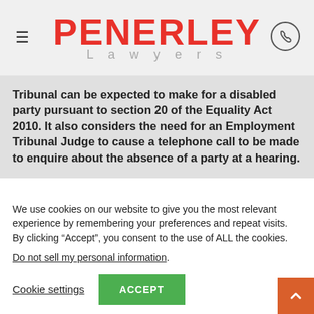PENERLEY Lawyers
Tribunal can be expected to make for a disabled party pursuant to section 20 of the Equality Act 2010. It also considers the need for an Employment Tribunal Judge to cause a telephone call to be made to enquire about the absence of a party at a hearing.
We use cookies on our website to give you the most relevant experience by remembering your preferences and repeat visits. By clicking “Accept”, you consent to the use of ALL the cookies.
Do not sell my personal information.
Cookie settings   ACCEPT